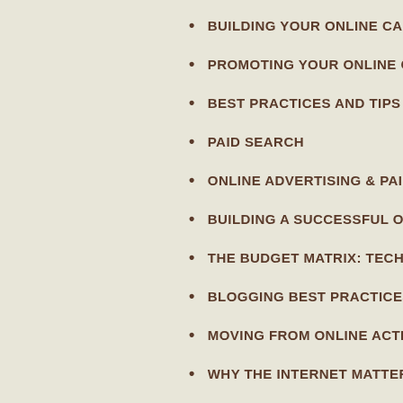BUILDING YOUR ONLINE CAMP…
PROMOTING YOUR ONLINE CA…
BEST PRACTICES AND TIPS FO…
PAID SEARCH
ONLINE ADVERTISING & PAID P…
BUILDING A SUCCESSFUL ONL…
THE BUDGET MATRIX: TECHNO…
BLOGGING BEST PRACTICES
MOVING FROM ONLINE ACTIVI…
WHY THE INTERNET MATTERS…
THE BLOGGING ADVANTAGE
BEST PRACTICES FOR ONLINE…
BEST PRACTICES AND TIPS FO…